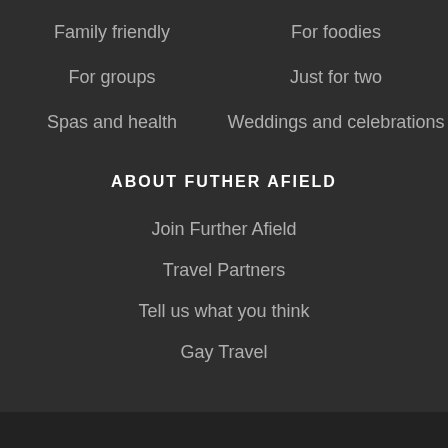Family friendly
For foodies
For groups
Just for two
Spas and health
Weddings and celebrations
ABOUT FUTHER AFIELD
Join Further Afield
Travel Partners
Tell us what you think
Gay Travel